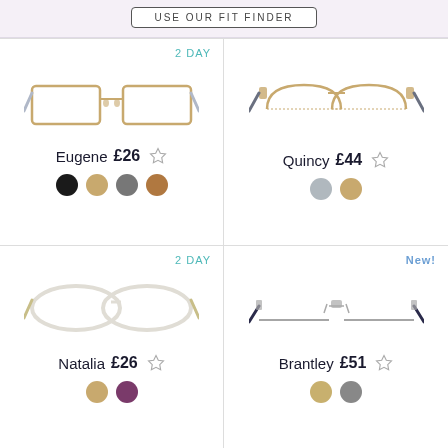USE OUR FIT FINDER
2 DAY
[Figure (photo): Gold rectangular glasses frames - Eugene]
Eugene £26 ☆
[Figure (photo): Color swatches: black, gold, grey, tan]
[Figure (photo): Gold semi-rimless oval glasses frames - Quincy]
Quincy £44 ☆
[Figure (photo): Color swatches: silver, gold]
2 DAY
[Figure (photo): White oval cat-eye glasses frames - Natalia]
Natalia £26 ☆
New!
[Figure (photo): Rimless glasses frames - Brantley]
Brantley £51 ☆